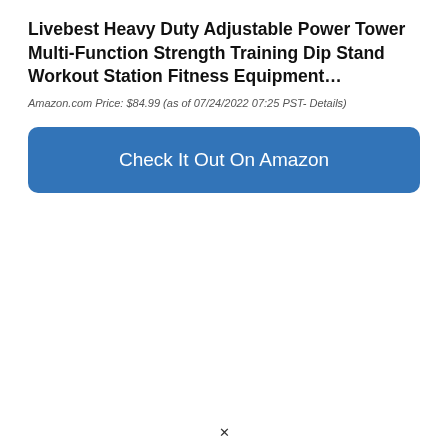Livebest Heavy Duty Adjustable Power Tower Multi-Function Strength Training Dip Stand Workout Station Fitness Equipment…
Amazon.com Price: $84.99 (as of 07/24/2022 07:25 PST- Details)
[Figure (other): Blue rounded rectangle button with text 'Check It Out On Amazon']